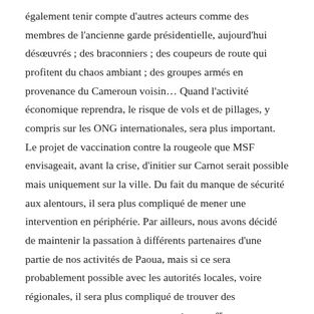également tenir compte d'autres acteurs comme des membres de l'ancienne garde présidentielle, aujourd'hui désœuvrés ; des braconniers ; des coupeurs de route qui profitent du chaos ambiant ; des groupes armés en provenance du Cameroun voisin… Quand l'activité économique reprendra, le risque de vols et de pillages, y compris sur les ONG internationales, sera plus important. Le projet de vaccination contre la rougeole que MSF envisageait, avant la crise, d'initier sur Carnot serait possible mais uniquement sur la ville. Du fait du manque de sécurité aux alentours, il sera plus compliqué de mener une intervention en périphérie. Par ailleurs, nous avons décidé de maintenir la passation à différents partenaires d'une partie de nos activités de Paoua, mais si ce sera probablement possible avec les autorités locales, voire régionales, il sera plus compliqué de trouver des interlocuteurs au niveau central. Enfin, au 1er mai, à l'hôpital communautaire de Bangui (où depuis la